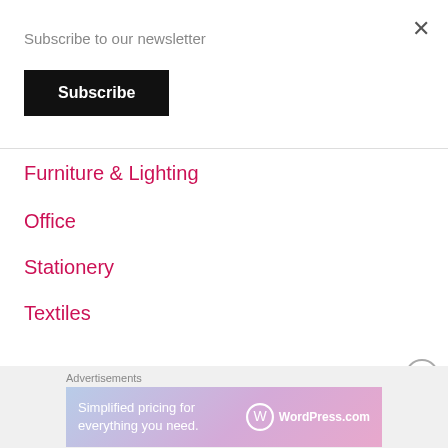×
Subscribe to our newsletter
Subscribe
Furniture & Lighting
Office
Stationery
Textiles
[Figure (other): Partially visible red button/bar at bottom of navigation overlay]
[Figure (other): Circle X close button (circled X icon) on right side]
Advertisements
[Figure (other): WordPress.com advertisement banner: 'Simplified pricing for everything you need.' with WordPress.com logo]